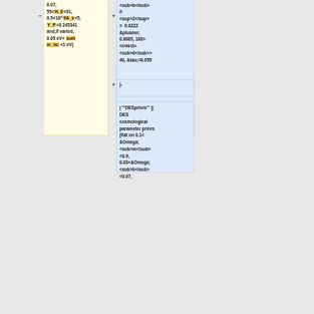0.07, 55<H_0<91, 0.5<10^9A_s<5, Y_P=0.245341 and,if varied, 0.05 eV< sum m_nu <1 eV)
<sub>b</sub><i>h</i><sup>2</sup> = 0.0222 ±0.0005, 100>H<sub>0</sub>>40, τ=0.055
|-
| '''DESpriors''' || DES cosmological parameter priors (flat on 0.1< Ω<sub>m</sub><0.9, 0.03<Ω<sub>b</sub><0.07,